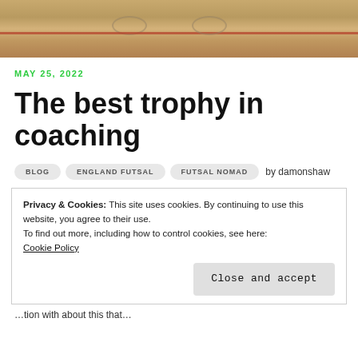[Figure (photo): Photo of a sports court (futsal/basketball) showing wooden floor with lines and circles, viewed from above at an angle. A red line is visible.]
MAY 25, 2022
The best trophy in coaching
BLOG   ENGLAND FUTSAL   FUTSAL NOMAD   by damonshaw
Privacy & Cookies: This site uses cookies. By continuing to use this website, you agree to their use.
To find out more, including how to control cookies, see here: Cookie Policy
Close and accept
...tion with about this that...